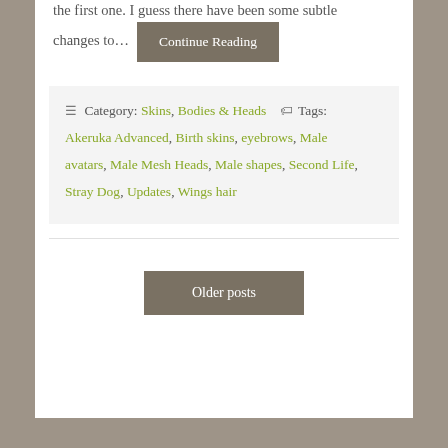the first one. I guess there have been some subtle changes to…
Continue Reading
Category: Skins, Bodies & Heads   Tags: Akeruka Advanced, Birth skins, eyebrows, Male avatars, Male Mesh Heads, Male shapes, Second Life, Stray Dog, Updates, Wings hair
Older posts